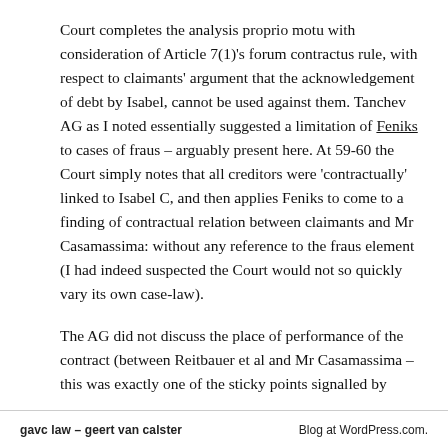Court completes the analysis proprio motu with consideration of Article 7(1)'s forum contractus rule, with respect to claimants' argument that the acknowledgement of debt by Isabel, cannot be used against them. Tanchev AG as I noted essentially suggested a limitation of Feniks to cases of fraus – arguably present here. At 59-60 the Court simply notes that all creditors were 'contractually' linked to Isabel C, and then applies Feniks to come to a finding of contractual relation between claimants and Mr Casamassima: without any reference to the fraus element (I had indeed suspected the Court would not so quickly vary its own case-law).
The AG did not discuss the place of performance of the contract (between Reitbauer et al and Mr Casamassima – this was exactly one of the sticky points signalled by
gavc law – geert van calster    Blog at WordPress.com.